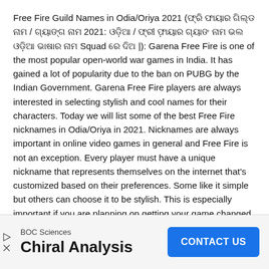Free Fire Guild Names in Odia/Oriya 2021 (ଫ୍ରି ଫାୟାର ଗିଲ୍ଡ ନାମ / ଗ୍ୟାଙ୍ଗ ନାମ 2021: ଓଡ଼ିଆ / ଫ୍ରୀ ଫ଼ାୟାର ଗ୍ୟାଙ ନାମ ଭଲ ଓଡ଼ିଆ ଭାଷାର ନାମ Squad ରେ ଦିଅ |): Garena Free Fire is one of the most popular open-world war games in India. It has gained a lot of popularity due to the ban on PUBG by the Indian Government. Garena Free Fire players are always interested in selecting stylish and cool names for their characters. Today we will list some of the best Free Fire nicknames in Odia/Oriya in 2021. Nicknames are always important in online video games in general and Free Fire is not an exception. Every player must have a unique nickname that represents themselves on the internet that's customized based on their preferences. Some like it simple but others can choose it to be stylish. This is especially important if you are planning on getting your game changed or you are becoming a streamer or pro player.
[Figure (infographic): Advertisement banner: BOC Sciences - Chiral Analysis with a blue CONTACT US button]